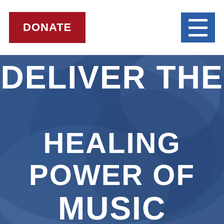[Figure (screenshot): Website screenshot with white header bar, red DONATE button on left, blue hamburger menu icon on right, and a blue-tinted hero image background with large white uppercase text reading DELIVER THE HEALING POWER OF MUSIC]
DONATE
DELIVER THE HEALING POWER OF MUSIC